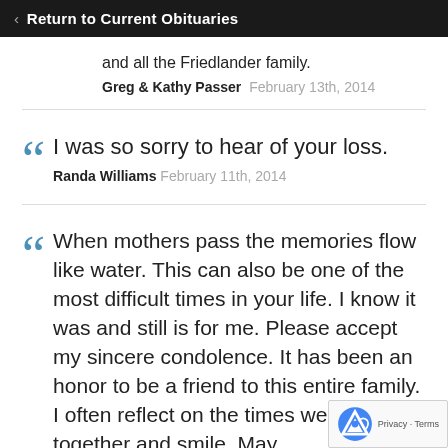‹ Return to Current Obituaries
and all the Friedlander family.
Greg & Kathy Passer  February 13th, 2014
I was so sorry to hear of your loss.
Randa Williams  February 11th, 2014
When mothers pass the memories flow like water. This can also be one of the most difficult times in your life. I know it was and still is for me. Please accept my sincere condolence. It has been an honor to be a friend to this entire family. I often reflect on the times we had together and smile. May